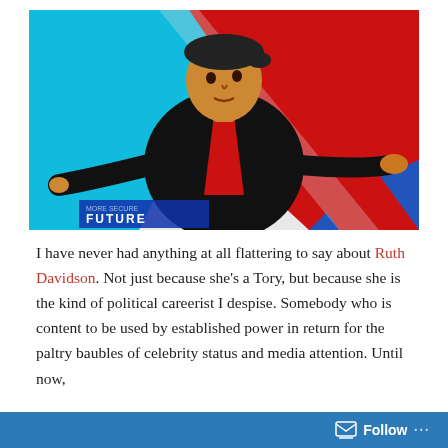[Figure (illustration): A stylized poster-art illustration of Ruth Davidson in a black suit with a red scarf/tie, arms outstretched, against a bold red, blue and white geometric background. A banner reading 'MORE SECURE FUTURE' is visible at the bottom left of the image.]
I have never had anything at all flattering to say about Ruth Davidson. Not just because she's a Tory, but because she is the kind of political careerist I despise. Somebody who is content to be used by established power in return for the paltry baubles of celebrity status and media attention. Until now,
Follow ...